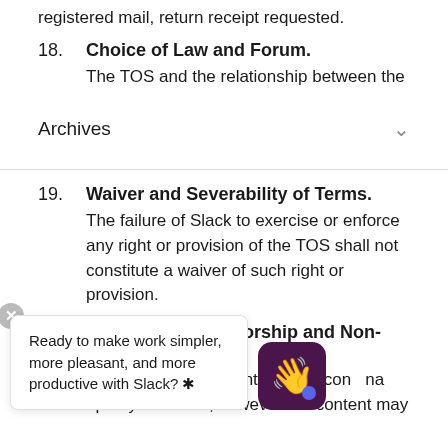registered mail, return receipt requested.
18. Choice of Law and Forum. The TOS and the relationship between the
Archives
19. Waiver and Severability of Terms. The failure of Slack to exercise or enforce any right or provision of the TOS shall not constitute a waiver of such right or provision.
20. No Right of Survivorship and Non-Transferability. If you... that your account... rig... the con... na... upon your death, however the content may
Ready to make work simpler, more pleasant, and more productive with Slack? ✳